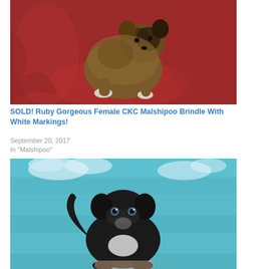[Figure (photo): A small fluffy brindle and black puppy (Malshipoo) standing on a red velvet fabric background, facing the camera.]
SOLD! Ruby Gorgeous Female CKC Malshipoo Brindle With White Markings!
September 20, 2017
In "Malshipoo"
[Figure (photo): A small dark/black fluffy puppy (Malshipoo) sitting against a light blue wooden background, looking at the camera.]